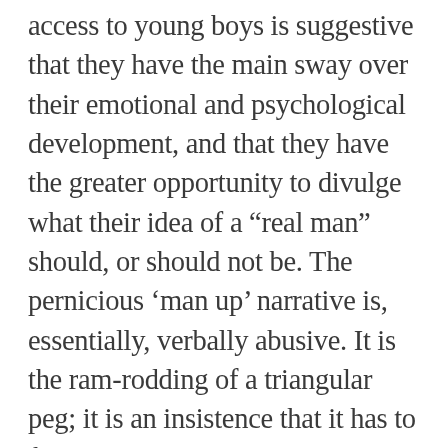access to young boys is suggestive that they have the main sway over their emotional and psychological development, and that they have the greater opportunity to divulge what their idea of a “real man” should, or should not be. The pernicious ‘man up’ narrative is, essentially, verbally abusive. It is the ram-rodding of a triangular peg; it is an insistence that it has to fit into a square hole, irrespective of its differing shape or form. The fact that women visit this type of abuse on their children is also a matter of record. Mothers are, by a long measure, the majority of child abusers: a survey done by the